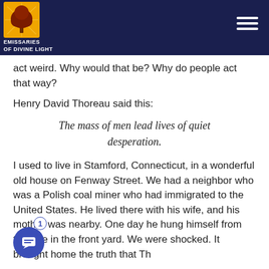Emissaries of Divine Light
act weird. Why would that be? Why do people act that way?
Henry David Thoreau said this:
I used to live in Stamford, Connecticut, in a wonderful old house on Fenway Street. We had a neighbor who was a Polish coal miner who had immigrated to the United States. He lived there with his wife, and his mother was nearby. One day he hung himself from the tree in the front yard. We were shocked. It brought home the truth that Th...